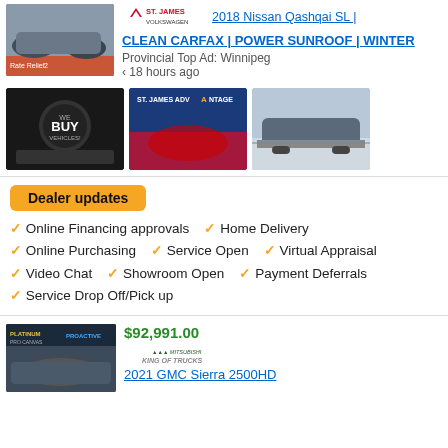[Figure (photo): Car thumbnail image - dark grey Nissan Qashqai]
[Figure (logo): St. James Volkswagen logo with maple leaf]
2018 Nissan Qashqai SL |
CLEAN CARFAX | POWER SUNROOF | WINTER
Provincial Top Ad:  Winnipeg
‹ 18 hours ago
[Figure (photo): We Buy Vehicles promotional image with cars and keys]
[Figure (photo): St. James Advantage promotional banner with blue background and red car]
[Figure (photo): Grey SUV parked outside dealership]
Dealer updates
Online Financing approvals
Home Delivery
Online Purchasing
Service Open
Virtual Appraisal
Video Chat
Showroom Open
Payment Deferrals
Service Drop Off/Pick up
$92,991.00
[Figure (logo): King of Trucks / Mitsubishi dealer logo]
2021 GMC Sierra 2500HD